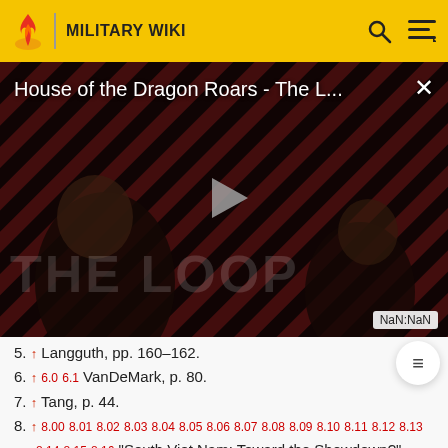MILITARY WIKI
[Figure (screenshot): Video player showing 'House of the Dragon Roars - The L...' with play button, THE LOOP branding, dark overlay with diagonal stripe pattern, NaN:NaN timestamp, and close button]
5. ↑ Langguth, pp. 160–162.
6. ↑ 6.0 6.1 VanDeMark, p. 80.
7. ↑ Tang, p. 44.
8. ↑ 8.00 8.01 8.02 8.03 8.04 8.05 8.06 8.07 8.08 8.09 8.10 8.11 8.12 8.13 8.14 8.15 8.16 "South Viet Nam: Toward the Showdown?".
Time. 7 August 1964